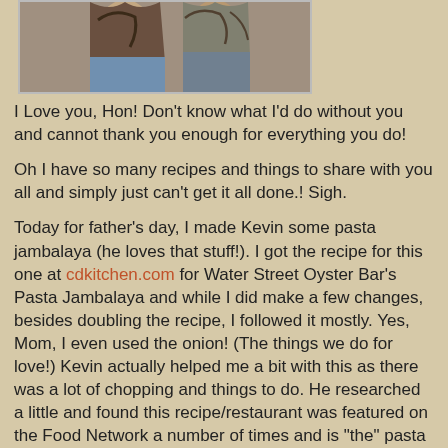[Figure (photo): Photo of two people (partial, cropped at top) against a light background]
I Love you, Hon!  Don't know what I'd do without you and cannot thank you enough for everything you do!
Oh I have so many recipes and things to share with you all and simply just can't get it all done.!  Sigh.
Today for father's day, I made Kevin some pasta jambalaya (he loves that stuff!).  I got the recipe for this one  at cdkitchen.com for Water Street Oyster Bar's Pasta Jambalaya and while I did make a few changes, besides doubling the recipe, I followed it mostly.  Yes, Mom, I even used the onion!  (The things we do for love!)  Kevin actually helped me a bit with this as there was a lot of chopping and things to do.   He researched a little and found this recipe/restaurant was featured on the Food Network a number of times and is "the" pasta jambalaya of New Orleans.  $40 a Day with Rachel Ray featured it and they share the recipe on FN.  One thing about doubling this recipe would have meant that it would take one whole cup of